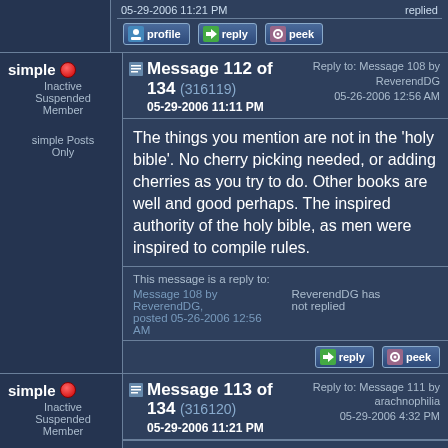05-29-2006 11:21 PM    replied
[Figure (screenshot): Forum action buttons: profile, reply, peek]
Message 112 of 134 (316119) - 05-29-2006 11:11 PM - Reply to: Message 108 by ReverendDG 05-26-2006 12:56 AM
simple - Inactive Suspended Member - simple Posts Only
The things you mention are not in the 'holy bible'. No cherry picking needed, or adding cherries as you try to do. Other books are well and good perhaps. The inspired authority of the holy bible, as men were inspired to compile rules.
This message is a reply to: Message 108 by ReverendDG, posted 05-26-2006 12:56 AM - ReverendDG has not replied
[Figure (screenshot): Forum action buttons: reply, peek]
Message 113 of 134 (316120) - 05-29-2006 11:21 PM - Reply to: Message 111 by arachnophilia 05-29-2006 4:32 PM
simple - Inactive Suspended Member - simple Posts
quote: